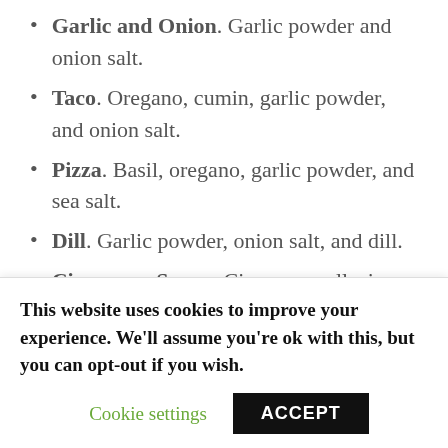Garlic and Onion. Garlic powder and onion salt.
Taco. Oregano, cumin, garlic powder, and onion salt.
Pizza. Basil, oregano, garlic powder, and sea salt.
Dill. Garlic powder, onion salt, and dill.
Cinnamon Sugar. Cinnamon, allspice, and cloves, with sweetener in place of olive oil.
I use dried herbs, spices, and seasonings for these recipes. And if you’re curious about the difference between garlic/onion powders and garlic/onion salts, then
This website uses cookies to improve your experience. We’ll assume you’re ok with this, but you can opt-out if you wish. Cookie settings ACCEPT